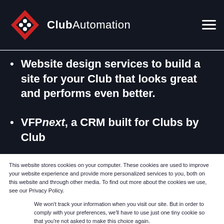Club Automation
Website design services to build a site for your Club that looks great and performs even better.
VFPnext, a CRM built for Clubs by Club
This website stores cookies on your computer. These cookies are used to improve your website experience and provide more personalized services to you, both on this website and through other media. To find out more about the cookies we use, see our Privacy Policy.
We won't track your information when you visit our site. But in order to comply with your preferences, we'll have to use just one tiny cookie so that you're not asked to make this choice again.